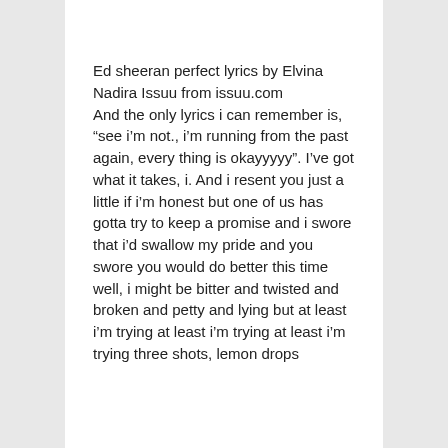Ed sheeran perfect lyrics by Elvina Nadira Issuu from issuu.com
And the only lyrics i can remember is, “see i’m not., i’m running from the past again, every thing is okayyyyy”. I’ve got what it takes, i. And i resent you just a little if i’m honest but one of us has gotta try to keep a promise and i swore that i’d swallow my pride and you swore you would do better this time well, i might be bitter and twisted and broken and petty and lying but at least i’m trying at least i’m trying at least i’m trying three shots, lemon drops